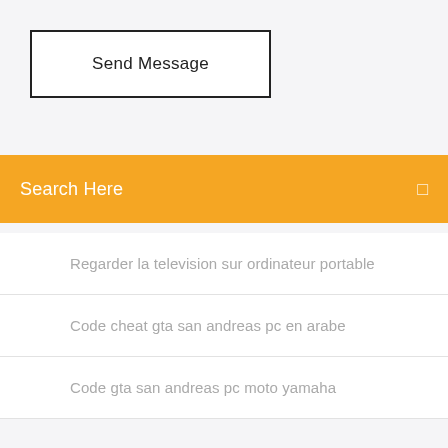Send Message
Search Here
Regarder la television sur ordinateur portable
Code cheat gta san andreas pc en arabe
Code gta san andreas pc moto yamaha